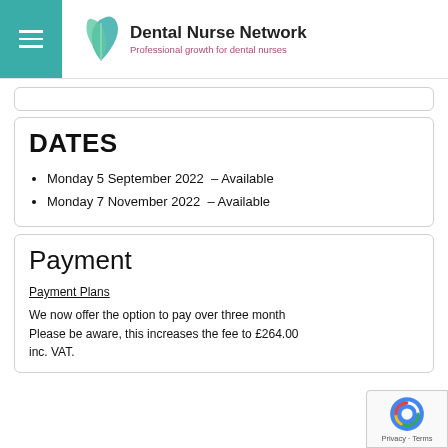Dental Nurse Network — Professional growth for dental nurses
DATES
Monday 5 September 2022  – Available
Monday 7 November 2022  – Available
Payment
Payment Plans
We now offer the option to pay over three months. Please be aware, this increases the fee to £264.00 inc. VAT.